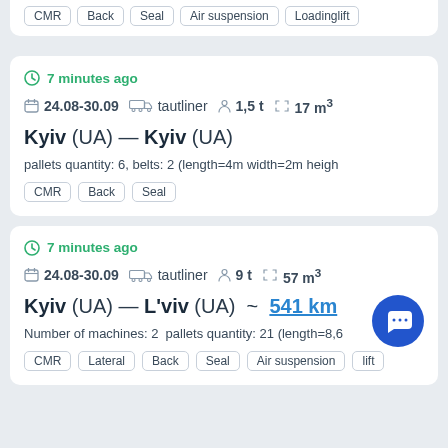CMR  Back  Seal  Air suspension  Loadinglift
7 minutes ago
24.08-30.09  tautliner  1,5 t  17 m³
Kyiv (UA) — Kyiv (UA)
pallets quantity: 6, belts: 2 (length=4m width=2m heigh
CMR  Back  Seal
7 minutes ago
24.08-30.09  tautliner  9 t  57 m³
Kyiv (UA) — L'viv (UA) ~ 541 km
Number of machines: 2  pallets quantity: 21 (length=8,6
CMR  Lateral  Back  Seal  Air suspension  lift